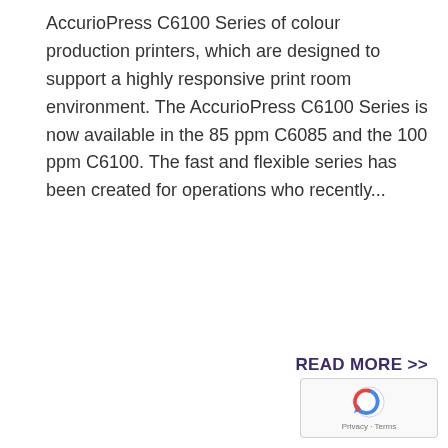AccurioPress C6100 Series of colour production printers, which are designed to support a highly responsive print room environment. The AccurioPress C6100 Series is now available in the 85 ppm C6085 and the 100 ppm C6100. The fast and flexible series has been created for operations who recently...
READ MORE >>
[Figure (other): reCAPTCHA privacy badge with spinning arrow icon and 'Privacy · Terms' text]